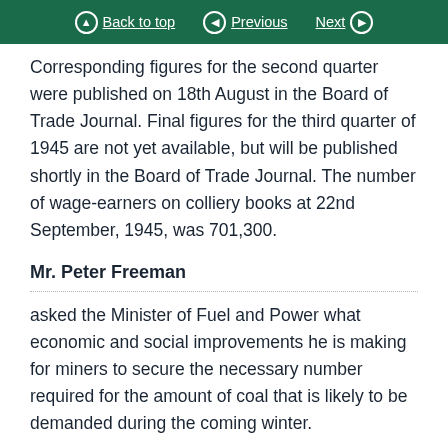Back to top  Previous  Next
Corresponding figures for the second quarter were published on 18th August in the Board of Trade Journal. Final figures for the third quarter of 1945 are not yet available, but will be published shortly in the Board of Trade Journal. The number of wage-earners on colliery books at 22nd September, 1945, was 701,300.
Mr. Peter Freeman
asked the Minister of Fuel and Power what economic and social improvements he is making for miners to secure the necessary number required for the amount of coal that is likely to be demanded during the coming winter.